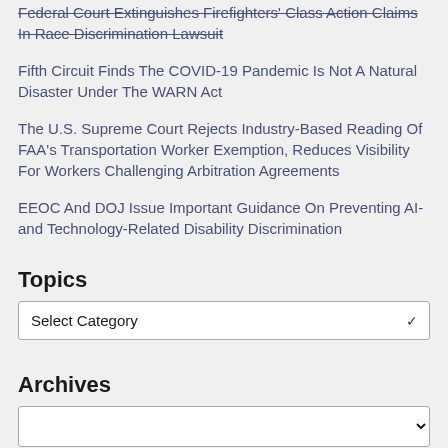Federal Court Extinguishes Firefighters' Class Action Claims In Race Discrimination Lawsuit
Fifth Circuit Finds The COVID-19 Pandemic Is Not A Natural Disaster Under The WARN Act
The U.S. Supreme Court Rejects Industry-Based Reading Of FAA's Transportation Worker Exemption, Reduces Visibility For Workers Challenging Arbitration Agreements
EEOC And DOJ Issue Important Guidance On Preventing AI- and Technology-Related Disability Discrimination
Topics
Select Category
Archives